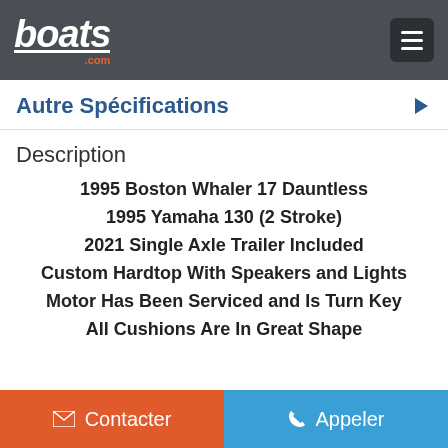boats.com
Autre Spécifications
Description
1995 Boston Whaler 17 Dauntless
1995 Yamaha 130 (2 Stroke)
2021 Single Axle Trailer Included
Custom Hardtop With Speakers and Lights
Motor Has Been Serviced and Is Turn Key
All Cushions Are In Great Shape
Contacter | Appeler